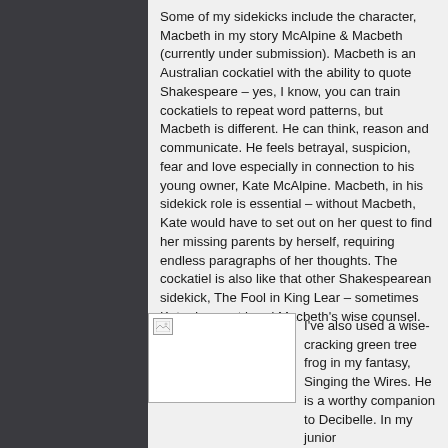Some of my sidekicks include the character, Macbeth in my story McAlpine & Macbeth (currently under submission). Macbeth is an Australian cockatiel with the ability to quote Shakespeare – yes, I know, you can train cockatiels to repeat word patterns, but Macbeth is different. He can think, reason and communicate. He feels betrayal, suspicion, fear and love especially in connection to his young owner, Kate McAlpine. Macbeth, in his sidekick role is essential – without Macbeth, Kate would have to set out on her quest to find her missing parents by herself, requiring endless paragraphs of her thoughts. The cockatiel is also like that other Shakespearean sidekick, The Fool in King Lear – sometimes Kate does not heed Macbeth's wise counsel.
[Figure (photo): A placeholder image shown with a broken image icon and white background.]
I've also used a wise-cracking green tree frog in my fantasy, Singing the Wires. He is a worthy companion to Decibelle. In my junior